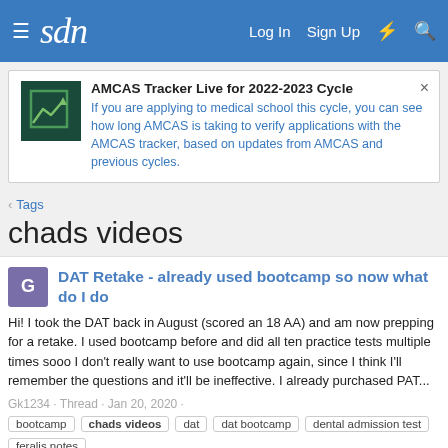sdn | Log In | Sign Up
AMCAS Tracker Live for 2022-2023 Cycle
If you are applying to medical school this cycle, you can see how long AMCAS is taking to verify applications with the AMCAS tracker, based on updates from AMCAS and previous cycles.
Tags
chads videos
DAT Retake - already used bootcamp so now what do I do
Hi! I took the DAT back in August (scored an 18 AA) and am now prepping for a retake. I used bootcamp before and did all ten practice tests multiple times sooo I don't really want to use bootcamp again, since I think I'll remember the questions and it'll be ineffective. I already purchased PAT...
Gk1234 · Thread · Jan 20, 2020 · bootcamp chads videos dat dat bootcamp dental admission test feralis notes